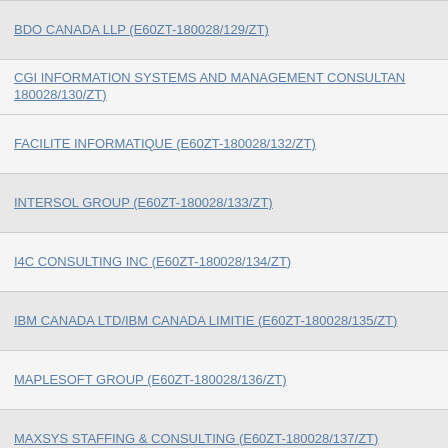BDO CANADA LLP (E60ZT-180028/129/ZT)
CGI INFORMATION SYSTEMS AND MANAGEMENT CONSULTANTS INC (E60ZT-180028/130/ZT)
FACILITE INFORMATIQUE (E60ZT-180028/132/ZT)
INTERSOL GROUP (E60ZT-180028/133/ZT)
I4C CONSULTING INC (E60ZT-180028/134/ZT)
IBM CANADA LTD/IBM CANADA LIMITIE (E60ZT-180028/135/ZT)
MAPLESOFT GROUP (E60ZT-180028/136/ZT)
MAXSYS STAFFING & CONSULTING (E60ZT-180028/137/ZT)
MESSA COMPUTING INC (E60ZT-180028/138/ZT)